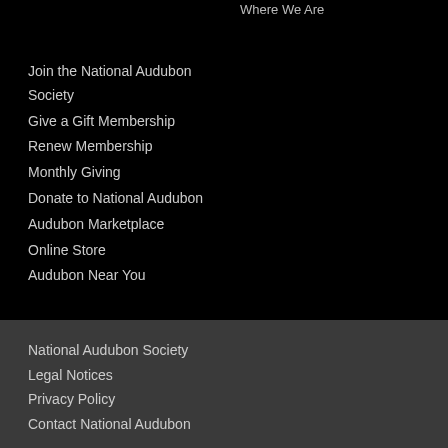Where We Are
Join the National Audubon Society
Give a Gift Membership
Renew Membership
Monthly Giving
Donate to National Audubon
Audubon Marketplace
Online Store
Audubon Near You
National Audubon Society
Legal Notices
Privacy Policy
Contact National Audubon